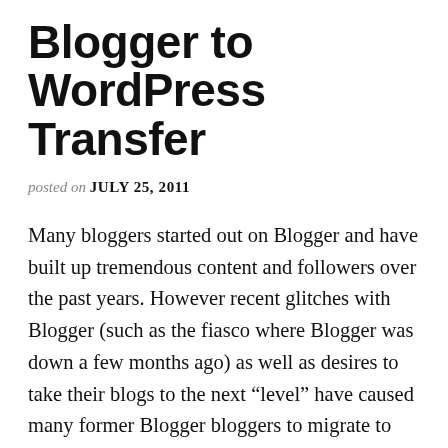Blogger to WordPress Transfer
posted on JULY 25, 2011
Many bloggers started out on Blogger and have built up tremendous content and followers over the past years. However recent glitches with Blogger (such as the fiasco where Blogger was down a few months ago) as well as desires to take their blogs to the next “level” have caused many former Blogger bloggers to migrate to WordPress. For smaller blogs or for people who have some technical experience, transferring from Blogger to WordPress can be handled by a few simple steps. However for larger blogs with